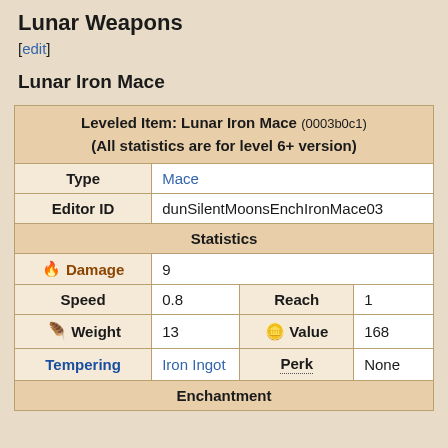Lunar Weapons
[edit]
Lunar Iron Mace
| Leveled Item: Lunar Iron Mace (0003b0c1)
(All statistics are for level 6+ version) |
| Type | Mace |
| Editor ID | dunSilentMoonsEnchIronMace03 |
| Statistics |
| Damage | 9 |
| Speed | 0.8 | Reach | 1 |
| Weight | 13 | Value | 168 |
| Tempering | Iron Ingot | Perk | None |
| Enchantment |